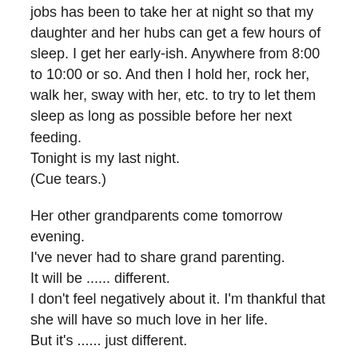For the last week and a half (a bit less than that) one of my jobs has been to take her at night so that my daughter and her hubs can get a few hours of sleep. I get her early-ish. Anywhere from 8:00 to 10:00 or so. And then I hold her, rock her, walk her, sway with her, etc. to try to let them sleep as long as possible before her next feeding.
Tonight is my last night.
(Cue tears.)
Her other grandparents come tomorrow evening.
I've never had to share grand parenting.
It will be ...... different.
I don't feel negatively about it. I'm thankful that she will have so much love in her life.
But it's ...... just different.
Anyway, they will arrive tomorrow and take over helping out around here.
I will take care of the grandsons tomorrow night and we'll all